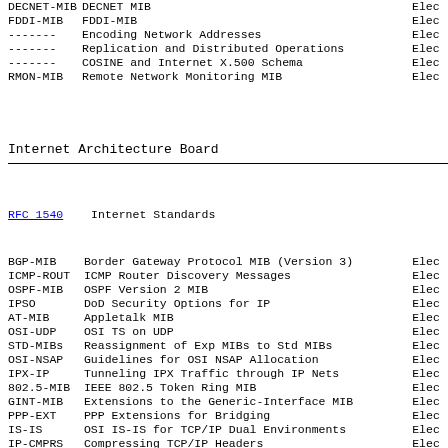| DECNET-MIB | DECNET MIB | Elec |
| FDDI-MIB | FDDI-MIB | Elec |
| ------- | Encoding Network Addresses | Elec |
| ------- | Replication and Distributed Operations | Elec |
| ------- | COSINE and Internet X.500 Schema | Elec |
| RMON-MIB | Remote Network Monitoring MIB | Elec |
Internet Architecture Board
RFC 1540                    Internet Standards
| BGP-MIB | Border Gateway Protocol MIB (Version 3) | Elec |
| ICMP-ROUT | ICMP Router Discovery Messages | Elec |
| OSPF-MIB | OSPF Version 2 MIB | Elec |
| IPSO | DoD Security Options for IP | Elec |
| AT-MIB | Appletalk MIB | Elec |
| OSI-UDP | OSI TS on UDP | Elec |
| STD-MIBs | Reassignment of Exp MIBs to Std MIBs | Elec |
| OSI-NSAP | Guidelines for OSI NSAP Allocation | Elec |
| IPX-IP | Tunneling IPX Traffic through IP Nets | Elec |
| 802.5-MIB | IEEE 802.5 Token Ring MIB | Elec |
| GINT-MIB | Extensions to the Generic-Interface MIB | Elec |
| PPP-EXT | PPP Extensions for Bridging | Elec |
| IS-IS | OSI IS-IS for TCP/IP Dual Environments | Elec |
| IP-CMPRS | Compressing TCP/IP Headers | Elec |
| ISO-TS-ECHO | Echo for ISO 8473 | Elec |